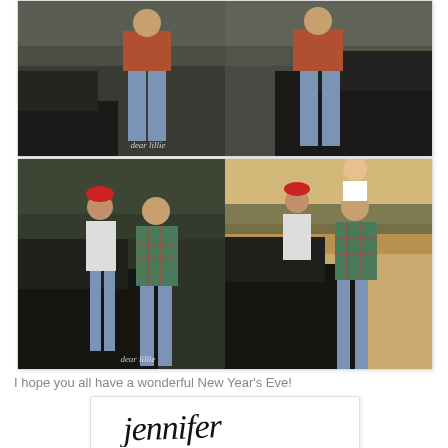[Figure (photo): Two side-by-side photos of people (couple) standing next to a dark SUV/Jeep outdoors, wearing flannel shirts and jeans. Watermark text 'dear lillie' visible.]
[Figure (photo): Two side-by-side photos of a couple and baby outdoors next to a dark Jeep/SUV. Woman wears a red hat, man wears a plaid flannel shirt. Baby is held up on the right photo. Watermark 'dear lillie' visible.]
I hope you all have a wonderful New Year's Eve!
[Figure (photo): Signature card with handwritten script text reading 'jennifer' in black cursive on white background.]